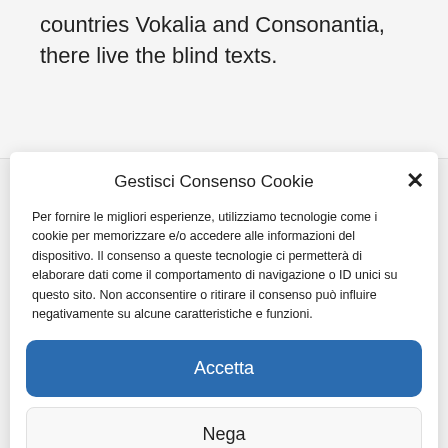countries Vokalia and Consonantia, there live the blind texts.
Gestisci Consenso Cookie
Per fornire le migliori esperienze, utilizziamo tecnologie come i cookie per memorizzare e/o accedere alle informazioni del dispositivo. Il consenso a queste tecnologie ci permetterà di elaborare dati come il comportamento di navigazione o ID unici su questo sito. Non acconsentire o ritirare il consenso può influire negativamente su alcune caratteristiche e funzioni.
Accetta
Nega
Visualizza le preferenze
Cookies policy   Privacy policy